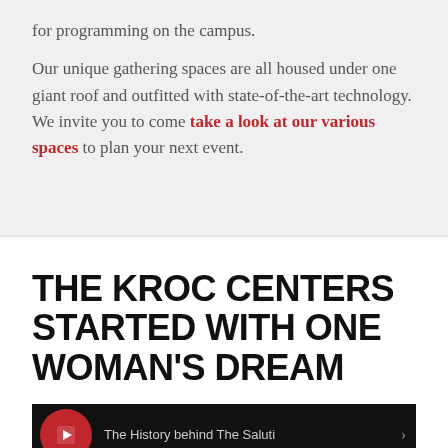for programming on the campus.

Our unique gathering spaces are all housed under one giant roof and outfitted with state-of-the-art technology. We invite you to come take a look at our various spaces to plan your next event.
THE KROC CENTERS STARTED WITH ONE WOMAN'S DREAM
[Figure (screenshot): Video thumbnail showing a red circular logo icon on black background with partial text 'The History behind The Saluti']